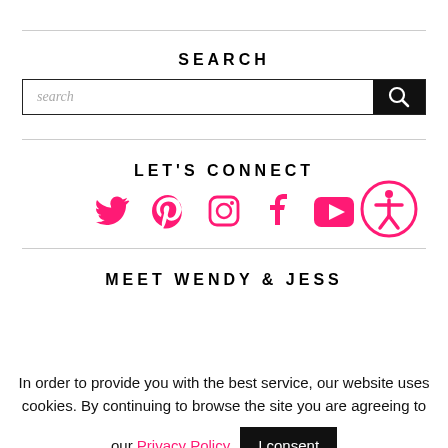SEARCH
[Figure (other): Search input bar with text 'search' in italic and a black search button with magnifying glass icon]
LET'S CONNECT
[Figure (other): Social media icons in pink/hot pink: Twitter, Pinterest, Instagram, Facebook, YouTube, and an accessibility icon circle]
MEET WENDY & JESS
In order to provide you with the best service, our website uses cookies. By continuing to browse the site you are agreeing to our Privacy Policy
I consent